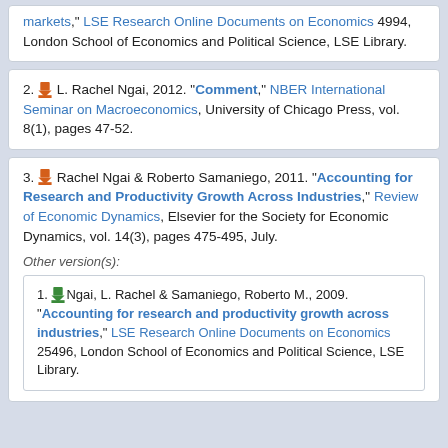markets," LSE Research Online Documents on Economics 4994, London School of Economics and Political Science, LSE Library.
2. L. Rachel Ngai, 2012. "Comment," NBER International Seminar on Macroeconomics, University of Chicago Press, vol. 8(1), pages 47-52.
3. Rachel Ngai & Roberto Samaniego, 2011. "Accounting for Research and Productivity Growth Across Industries," Review of Economic Dynamics, Elsevier for the Society for Economic Dynamics, vol. 14(3), pages 475-495, July.
Other version(s):
1. Ngai, L. Rachel & Samaniego, Roberto M., 2009. "Accounting for research and productivity growth across industries," LSE Research Online Documents on Economics 25496, London School of Economics and Political Science, LSE Library.